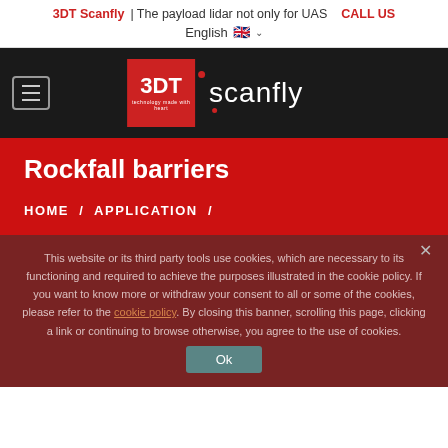3DT Scanfly | The payload lidar not only for UAS   CALL US
English 🇬🇧 ˅
[Figure (logo): 3DT Scanfly logo: red square with '3DT' text and 'scanfly' wordmark on dark background]
Rockfall barriers
HOME / APPLICATION /
This website or its third party tools use cookies, which are necessary to its functioning and required to achieve the purposes illustrated in the cookie policy. If you want to know more or withdraw your consent to all or some of the cookies, please refer to the cookie policy. By closing this banner, scrolling this page, clicking a link or continuing to browse otherwise, you agree to the use of cookies.
Ok